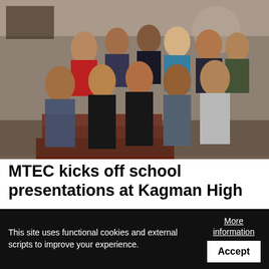[Figure (photo): Group photo of students and adults posing together inside a school room, some making hand gestures, taken at Kagman High School on Oct. 19, 2017.]
MTEC kicks off school presentations at Kagman High
The Marianas Tourism Education Council kicked off its annual school presentations on Oct. 19, 2017, at Kagman High School, speaking to students about working in the tourism and hospitality
This site uses functional cookies and external scripts to improve your experience.
More information
Accept